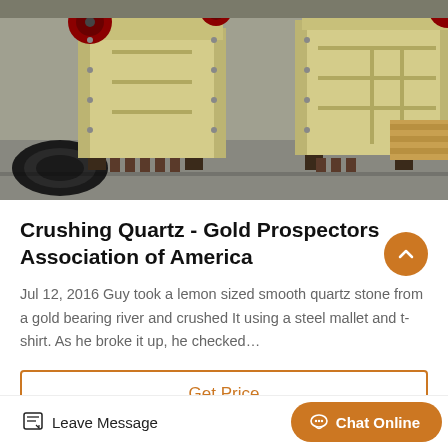[Figure (photo): Industrial jaw crusher / stone crushing machine, painted pale yellow-green, photographed in a warehouse or factory setting. Multiple large crusher units visible with heavy duty legs and red flywheel. Black hose coiled on the ground to the left.]
Crushing Quartz - Gold Prospectors Association of America
Jul 12, 2016 Guy took a lemon sized smooth quartz stone from a gold bearing river and crushed It using a steel mallet and t-shirt. As he broke it up, he checked…
Get Price
Leave Message
Chat Online